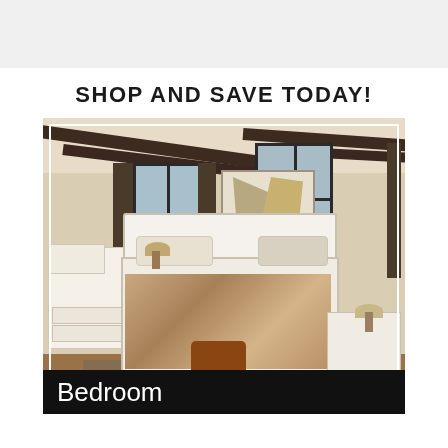SHOP AND SAVE TODAY!
[Figure (photo): A styled bedroom scene featuring a white wooden bed with tan/brown patterned bedding, white nightstands, a white dresser, table lamps, exposed dark wood ceiling beams, large windows with dark curtains, a wall art piece, a brown leather ottoman at the foot of the bed, and a woven area rug on hardwood floors.]
Bedroom